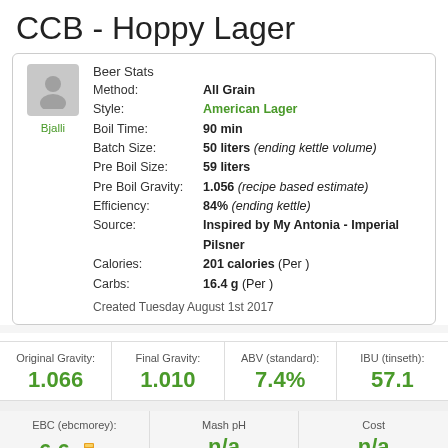CCB - Hoppy Lager
| Method: | All Grain |
| Style: | American Lager |
| Boil Time: | 90 min |
| Batch Size: | 50 liters (ending kettle volume) |
| Pre Boil Size: | 59 liters |
| Pre Boil Gravity: | 1.056 (recipe based estimate) |
| Efficiency: | 84% (ending kettle) |
| Source: | Inspired by My Antonia - Imperial Pilsner |
| Calories: | 201 calories (Per ) |
| Carbs: | 16.4 g (Per ) |
| Created | Tuesday August 1st 2017 |
| Original Gravity: | Final Gravity: | ABV (standard): | IBU (tinseth): |
| --- | --- | --- | --- |
| 1.066 | 1.010 | 7.4% | 57.1 |
| EBC (ebcmorey): | Mash pH | Cost |
| --- | --- | --- |
| 6.6 | n/a | n/a |